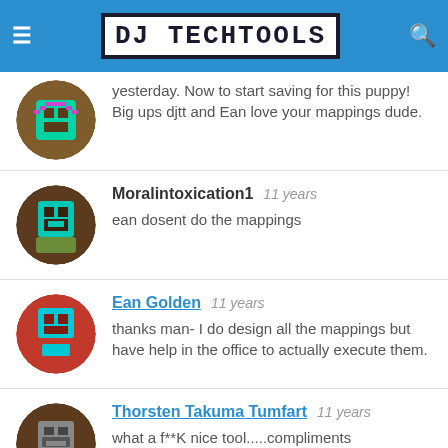DJ TechTools
yesterday. Now to start saving for this puppy! Big ups djtt and Ean love your mappings dude.
Moralintoxication1   11 years
ean dosent do the mappings
Ean Golden   11 years
thanks man- I do design all the mappings but have help in the office to actually execute them.
Thorsten Takuma Tumfart   11 years
what a f**K nice tool.....compliments
synthet1c   11 years
does your firmware allow an external timecode to